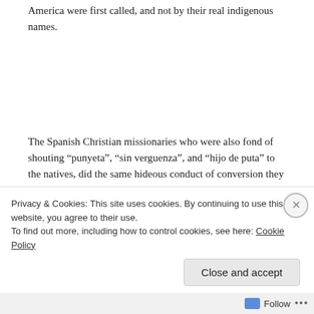America were first called, and not by their real indigenous names.
The Spanish Christian missionaries who were also fond of shouting “punyeta”, “sin verguenza”, and “hijo de puta” to the natives, did the same hideous conduct of conversion they used in South America, when they came to the Philippines, as they went into the frenzy of burning cultural and intellectual treasures, because for them those were “demonic” and did not
Privacy & Cookies: This site uses cookies. By continuing to use this website, you agree to their use.
To find out more, including how to control cookies, see here: Cookie Policy